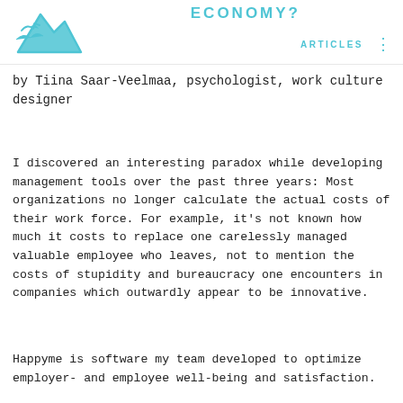ECONOMY?
[Figure (logo): Cyan/teal mountain and bird silhouette logo in top left]
ARTICLES
by Tiina Saar-Veelmaa, psychologist, work culture designer
I discovered an interesting paradox while developing management tools over the past three years: Most organizations no longer calculate the actual costs of their work force. For example, it's not known how much it costs to replace one carelessly managed valuable employee who leaves, not to mention the costs of stupidity and bureaucracy one encounters in companies which outwardly appear to be innovative.
Happyme is software my team developed to optimize employer- and employee well-being and satisfaction.